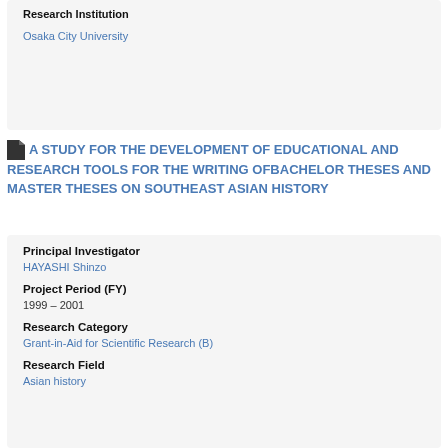Research Institution
Osaka City University
A STUDY FOR THE DEVELOPMENT OF EDUCATIONAL AND RESEARCH TOOLS FOR THE WRITING OFBACHELOR THESES AND MASTER THESES ON SOUTHEAST ASIAN HISTORY
Principal Investigator
HAYASHI Shinzo
Project Period (FY)
1999 – 2001
Research Category
Grant-in-Aid for Scientific Research (B)
Research Field
Asian history